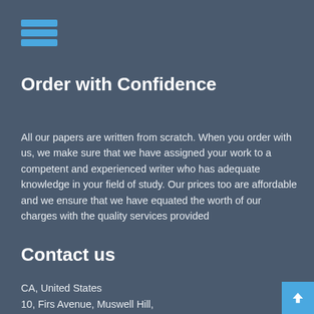[Figure (illustration): Blue hamburger menu icon (three horizontal blue bars)]
Order with Confidence
All our papers are written from scratch. When you order with us, we make sure that we have assigned your work to a competent and experienced writer who has adequate knowledge in your field of study. Our prices too are affordable and we ensure that we have equated the worth of our charges with the quality services provided
Contact us
CA, United States
10, Firs Avenue, Muswell Hill,
[Figure (illustration): WhatsApp button with icon reading: Chat with us on WhatsApp]
24/7/365 Customer Support